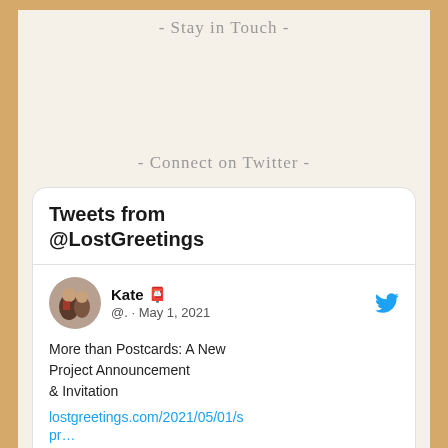- Stay in Touch -
- Connect on Twitter -
Tweets from @LostGreetings
Kate 📮
@. · May 1, 2021
More than Postcards: A New Project Announcement & Invitation lostgreetings.com/2021/05/01/spr…
[Figure (photo): Grayscale vintage photo, partially visible at bottom of card]